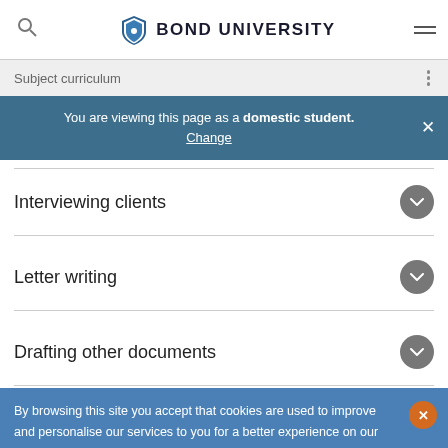Bond University — Subject curriculum
You are viewing this page as a domestic student. Change
Interviewing clients
Letter writing
Drafting other documents
By browsing this site you accept that cookies are used to improve and personalise our services to you for a better experience on our website and for social activity. If you continue, we will assume that you agree to our use of cookies statement.